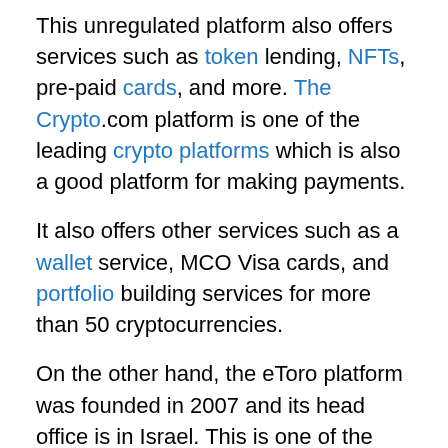This unregulated platform also offers services such as token lending, NFTs, pre-paid cards, and more. The Crypto.com platform is one of the leading crypto platforms which is also a good platform for making payments.
It also offers other services such as a wallet service, MCO Visa cards, and portfolio building services for more than 50 cryptocurrencies.
On the other hand, the eToro platform was founded in 2007 and its head office is in Israel. This is one of the most popular and widely used broker platforms that can also be used for trading crypto coins.
This is a multi-asset platform which means that you will be able to invest in stocks, forex, as well